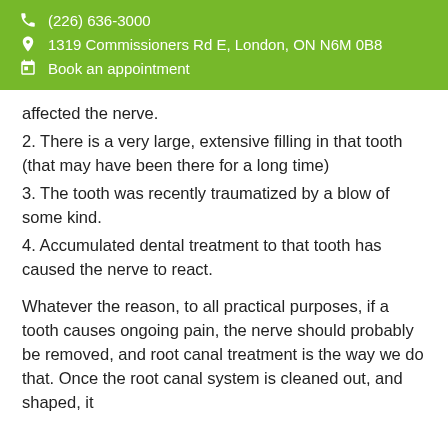(226) 636-3000 | 1319 Commissioners Rd E, London, ON N6M 0B8 | Book an appointment
affected the nerve.
2. There is a very large, extensive filling in that tooth (that may have been there for a long time)
3. The tooth was recently traumatized by a blow of some kind.
4. Accumulated dental treatment to that tooth has caused the nerve to react.
Whatever the reason, to all practical purposes, if a tooth causes ongoing pain, the nerve should probably be removed, and root canal treatment is the way we do that. Once the root canal system is cleaned out, and shaped, it